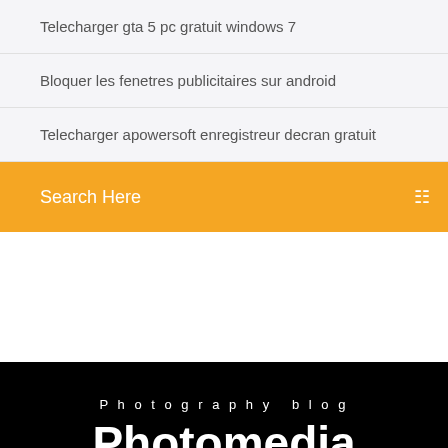Telecharger gta 5 pc gratuit windows 7
Bloquer les fenetres publicitaires sur android
Telecharger apowersoft enregistreur decran gratuit
Search Here
Photography blog
Photomedia